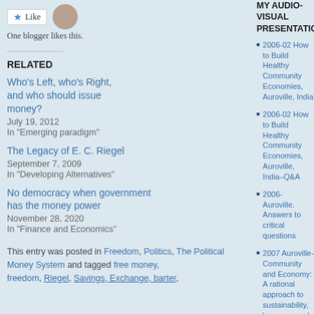One blogger likes this.
RELATED
Who's Left, who's Right, and who should issue money? July 19, 2012 In "Emerging paradigm"
The Legacy of E. C. Riegel September 7, 2009 In "Developing Alternatives"
No democracy when government has the money power November 28, 2020 In "Finance and Economics"
This entry was posted in Freedom, Politics, The Political Money System and tagged free money, freedom, Riegel, Savings, Exchange, barter...
MY AUDIO-VISUAL PRESENTATIONS
2006-02 How to Build Healthy Community Economies, Auroville, India
2006-02 How to Build Healthy Community Economies, Auroville, India–Q&A
2006-Auroville. Answers to critical questions
2007 Auroville-Community and Economy: A rational approach to sustainability, harmony, and prosperity
2007-05 Reinventing...